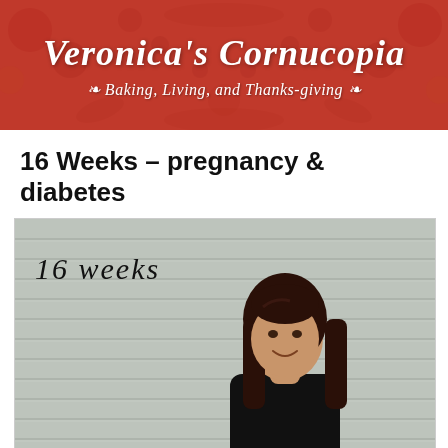Veronica's Cornucopia — Baking, Living, and Thanks-giving
16 Weeks – pregnancy & diabetes
[Figure (photo): A woman standing in front of a light gray horizontal siding wall. The text '16 weeks' appears in the upper left of the photo in a handwritten-style font.]